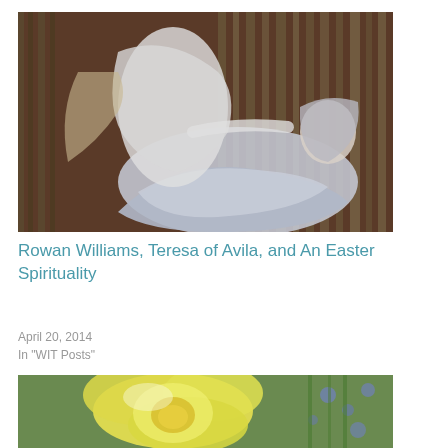[Figure (photo): Baroque marble sculpture showing an angel and a reclining robed figure (likely Ecstasy of Saint Teresa by Bernini), with golden rays in the background]
Rowan Williams, Teresa of Avila, and An Easter Spirituality
April 20, 2014
In "WIT Posts"
[Figure (photo): Close-up photograph of a yellow daffodil or iris flower with blue flowers blurred in the background]